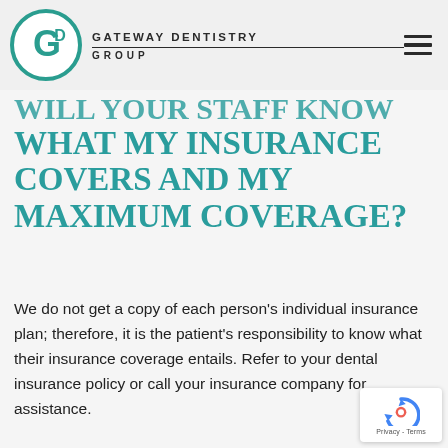Gateway Dentistry Group
WILL YOUR STAFF KNOW WHAT MY INSURANCE COVERS AND MY MAXIMUM COVERAGE?
We do not get a copy of each person's individual insurance plan; therefore, it is the patient's responsibility to know what their insurance coverage entails. Refer to your dental insurance policy or call your insurance company for assistance.
[Figure (logo): reCAPTCHA privacy badge with circular arrow icon and Privacy - Terms text]